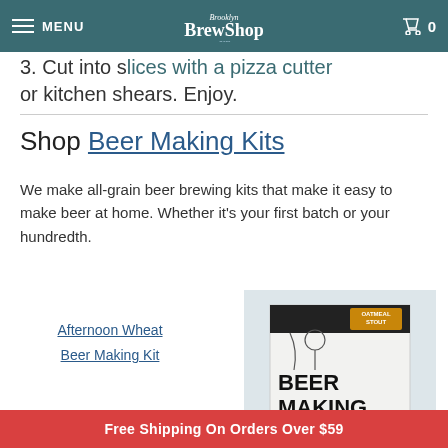MENU | Brooklyn Brew Shop | 0
3. Cut into slices with a pizza cutter or kitchen shears. Enjoy.
Shop Beer Making Kits
We make all-grain beer brewing kits that make it easy to make beer at home. Whether it’s your first batch or your hundredth.
Afternoon Wheat
Beer Making Kit
[Figure (photo): Brooklyn Brew Shop Beer Making Kit product box with Oatmeal Stout label, showing text BEER MAKING KIT with Brew Shop branding]
Free Shipping On Orders Over $59